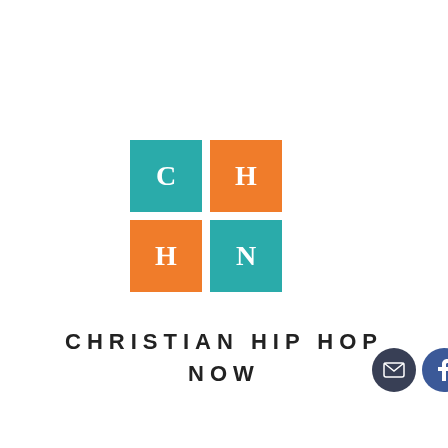[Figure (logo): Christian Hip Hop Now logo: four colored tiles (teal C, orange H, orange H, teal N) arranged in a 2x2 grid, with social media icons (email, Facebook, Twitter, YouTube, Instagram) overlapping to the right]
CHRISTIAN HIP HOP NOW